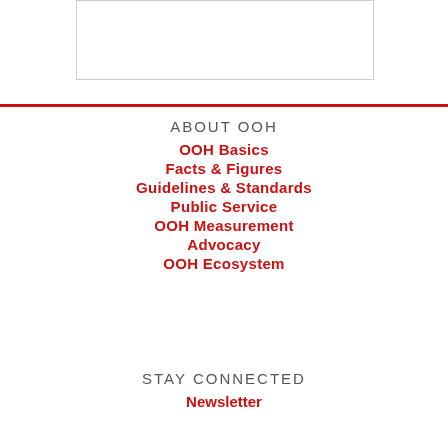[Figure (other): White rectangular image/logo box with light border]
ABOUT OOH
OOH Basics
Facts & Figures
Guidelines & Standards
Public Service
OOH Measurement
Advocacy
OOH Ecosystem
STAY CONNECTED
Newsletter